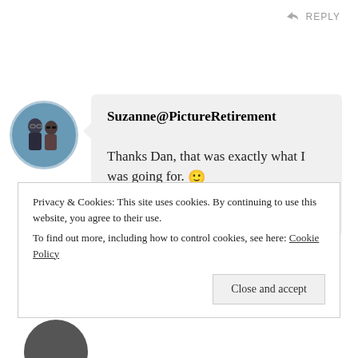REPLY
[Figure (photo): Circular avatar photo of a couple, man and woman, with a blue/teal border]
Suzanne@PictureRetirement
Thanks Dan, that was exactly what I was going for. 🙂
Liked by 1 person
Privacy & Cookies: This site uses cookies. By continuing to use this website, you agree to their use.
To find out more, including how to control cookies, see here: Cookie Policy
Close and accept